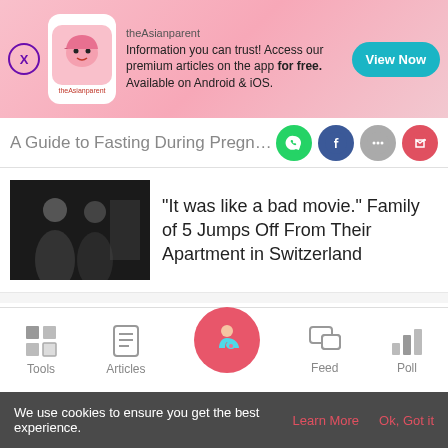[Figure (screenshot): theAsianparent app advertisement banner with logo, text and View Now button]
A Guide to Fasting During Pregnancy
[Figure (photo): Black and white photo of silhouettes of people near a window]
"It was like a bad movie." Family of 5 Jumps Off From Their Apartment in Switzerland
[Figure (photo): Black and white photo of silhouettes of people near a window]
"It was like a bad movie." Family of 5 Jumps Off From Their Apartment in Switzerland
[Figure (screenshot): Bottom navigation bar with Tools, Articles, Home (pregnant woman icon), Feed, Poll]
We use cookies to ensure you get the best experience.
Learn More   Ok, Got it